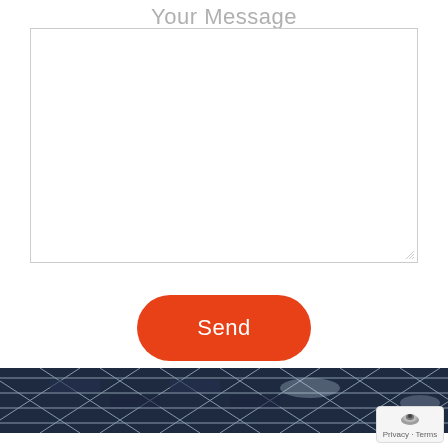Your Message
[Figure (screenshot): A large empty textarea/text input box for entering a message, with a resize handle in the bottom-right corner]
[Figure (other): A prominent orange rounded-rectangle Send button]
[Figure (photo): A close-up photo of dark blue solar panels with grid lines and reflective highlights]
[Figure (other): A small reCAPTCHA-style privacy badge in the bottom-right corner showing a shield icon and 'Privacy - Terms' text]